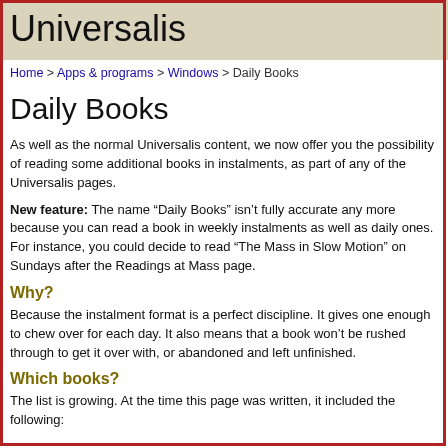Universalis
Home > Apps & programs > Windows > Daily Books
Daily Books
As well as the normal Universalis content, we now offer you the possibility of reading some additional books in instalments, as part of any of the Universalis pages.
New feature: The name “Daily Books” isn’t fully accurate any more because you can read a book in weekly instalments as well as daily ones. For instance, you could decide to read “The Mass in Slow Motion” on Sundays after the Readings at Mass page.
Why?
Because the instalment format is a perfect discipline. It gives one enough to chew over for each day. It also means that a book won’t be rushed through to get it over with, or abandoned and left unfinished.
Which books?
The list is growing. At the time this page was written, it included the following: